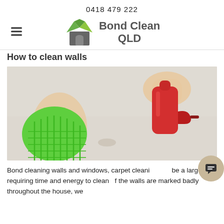0418 479 222
[Figure (logo): Bond Clean QLD logo with green and grey house icon and text 'Bond Clean QLD']
How to clean walls
[Figure (photo): Hands cleaning a wall with a green microfibre cloth and a red spray bottle]
Bond cleaning walls and windows, carpet cleaning can be a large job requiring time and energy to clean. If the walls are marked badly throughout the house, we